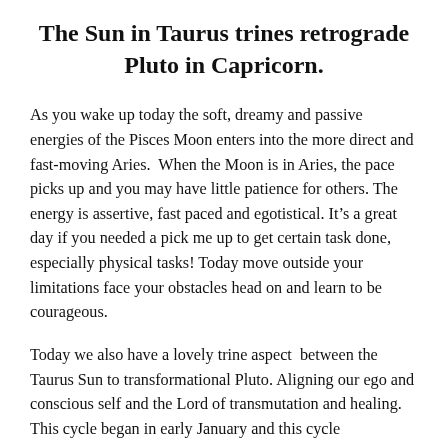The Sun in Taurus trines retrograde Pluto in Capricorn.
As you wake up today the soft, dreamy and passive energies of the Pisces Moon enters into the more direct and fast-moving Aries.  When the Moon is in Aries, the pace picks up and you may have little patience for others. The energy is assertive, fast paced and egotistical. It's a great day if you needed a pick me up to get certain task done, especially physical tasks! Today move outside your limitations face your obstacles head on and learn to be courageous.
Today we also have a lovely trine aspect  between the Taurus Sun to transformational Pluto. Aligning our ego and conscious self and the Lord of transmutation and healing. This cycle began in early January and this cycle